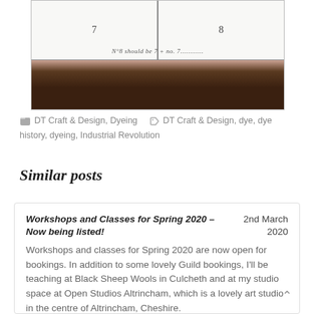[Figure (photo): Photo of a handwritten table with cells numbered 7 and 8, with a handwritten note below reading 'N°8 should be 7 + no. 7...' and a dark wooden surface at the bottom]
DT Craft & Design, Dyeing   DT Craft & Design, dye, dye history, dyeing, Industrial Revolution
Similar posts
Workshops and Classes for Spring 2020 – Now being listed!   2nd March 2020   Workshops and classes for Spring 2020 are now open for bookings. In addition to some lovely Guild bookings, I'll be teaching at Black Sheep Wools in Culcheth and at my studio space at Open Studios Altrincham, which is a lovely art studio in the centre of Altrincham, Cheshire.